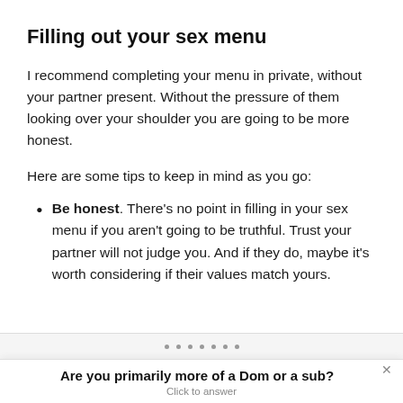Filling out your sex menu
I recommend completing your menu in private, without your partner present. Without the pressure of them looking over your shoulder you are going to be more honest.
Here are some tips to keep in mind as you go:
Be honest. There’s no point in filling in your sex menu if you aren’t going to be truthful. Trust your partner will not judge you. And if they do, maybe it’s worth considering if their values match yours.
Are you primarily more of a Dom or a sub? Click to answer